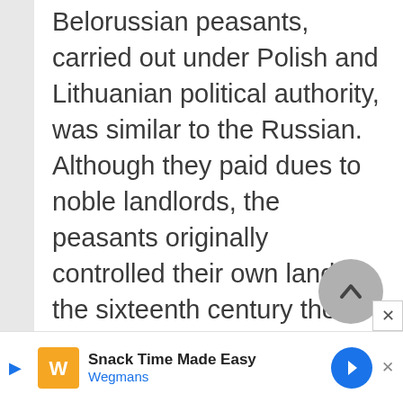Belorussian peasants, carried out under Polish and Lithuanian political authority, was similar to the Russian. Although they paid dues to noble landlords, the peasants originally controlled their own land. In the sixteenth century the nobles asserted their ownership of the land and the right to restrict peasant movement, reducing peasants to serfdom, especially in the western Ukranian and Belonissian regions nearer Poland. In the
[Figure (other): Wegmans advertisement banner: Snack Time Made Easy]